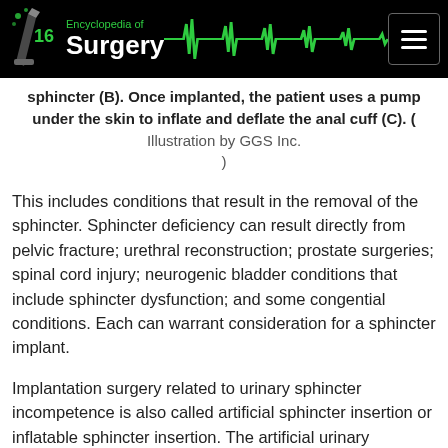Encyclopedia of Surgery
sphincter (B). Once implanted, the patient uses a pump under the skin to inflate and deflate the anal cuff (C). ( Illustration by GGS Inc. )
This includes conditions that result in the removal of the sphincter. Sphincter deficiency can result directly from pelvic fracture; urethral reconstruction; prostate surgeries; spinal cord injury; neurogenic bladder conditions that include sphincter dysfunction; and some congential conditions. Each can warrant consideration for a sphincter implant.
Implantation surgery related to urinary sphincter incompetence is also called artificial sphincter insertion or inflatable sphincter insertion. The artificial urinary sphincter (AUS) is a small device placed under the skin that keeps pressure on the urethra until there is a decision to urinate, at which point a pump allows the urethra to open and urination commences. Since the 1990s, advances in prostate cancer